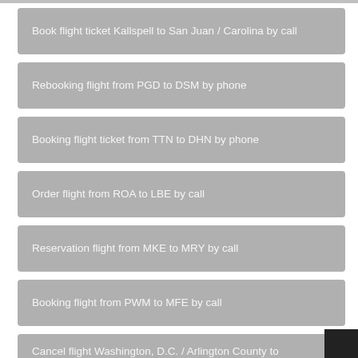Book flight ticket Kallspell to San Juan / Carolina by call
Rebooking flight from PGD to DSM by phone
Booking flight ticket from TTN to DHN by phone
Order flight from ROA to LBE by call
Reservation flight from MKE to MRY by call
Booking flight from PWM to MFE by call
Cancel flight Washington, D.C. / Arlington County to Wenatchee by phone